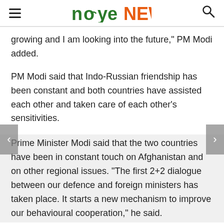noye NEWS
growing and I am looking into the future,” PM Modi added.
PM Modi said that Indo-Russian friendship has been constant and both countries have assisted each other and taken care of each other's sensitivities.
Prime Minister Modi said that the two countries have been in constant touch on Afghanistan and on other regional issues. “The first 2+2 dialogue between our defence and foreign ministers has taken place. It starts a new mechanism to improve our behavioural cooperation,” he said.
He also said that India and Russia are heading closer in cooperation in space and civil nuclear sectors. “Under Make In India, co-development and co-production are strengthening